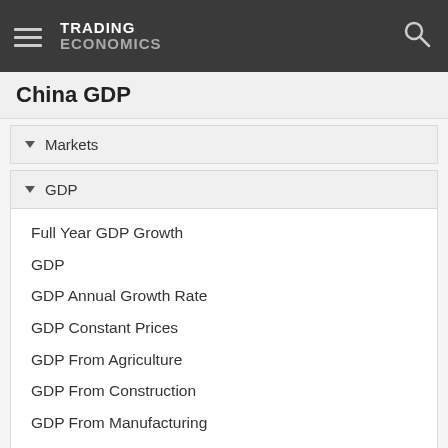TRADING ECONOMICS
China GDP
Markets
GDP
Full Year GDP Growth
GDP
GDP Annual Growth Rate
GDP Constant Prices
GDP From Agriculture
GDP From Construction
GDP From Manufacturing
GDP From Services
GDP From Transport
GDP Growth Rate
GDP Per Capita
GDP Per Capita PPP
Gross Fixed Capital Formation